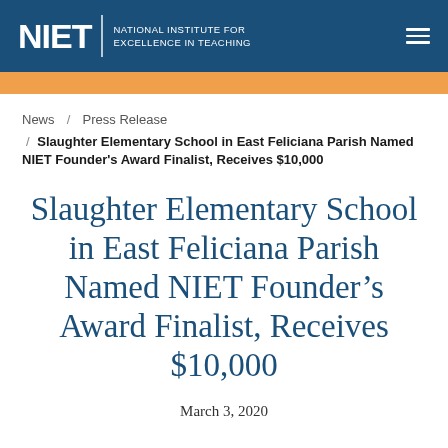NIET | NATIONAL INSTITUTE FOR EXCELLENCE IN TEACHING
News / Press Release / Slaughter Elementary School in East Feliciana Parish Named NIET Founder's Award Finalist, Receives $10,000
Slaughter Elementary School in East Feliciana Parish Named NIET Founder’s Award Finalist, Receives $10,000
March 3, 2020